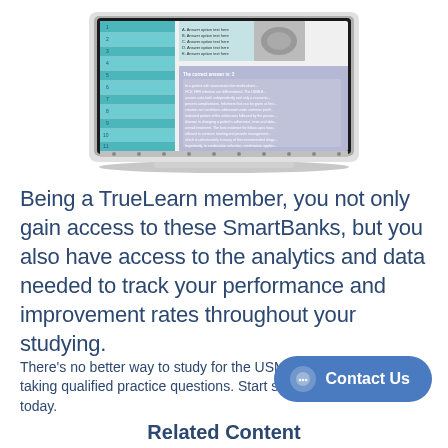[Figure (screenshot): Laptop showing TrueLearn SmartBanks interface with a practice question and teal sidebar navigation]
Being a TrueLearn member, you not only gain access to these SmartBanks, but you also have access to the analytics and data needed to track your performance and improvement rates throughout your studying.
There's no better way to study for the USMLE exams than by taking qualified practice questions. Start studying with TrueLearn today.
Contact Us
Related Content